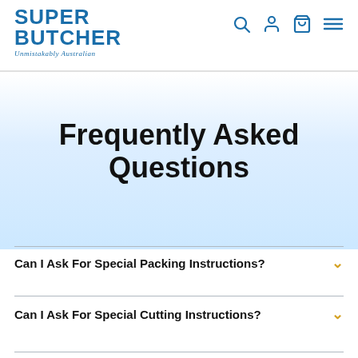SUPER BUTCHER - Unmistakably Australian
Frequently Asked Questions
Can I Ask For Special Packing Instructions?
Can I Ask For Special Cutting Instructions?